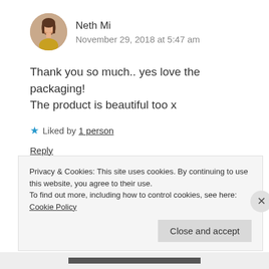[Figure (photo): Circular avatar photo of a woman with long dark hair]
Neth Mi
November 29, 2018 at 5:47 am
Thank you so much.. yes love the packaging! The product is beautiful too x
★ Liked by 1 person
Reply
Leave a Reply
Privacy & Cookies: This site uses cookies. By continuing to use this website, you agree to their use.
To find out more, including how to control cookies, see here: Cookie Policy